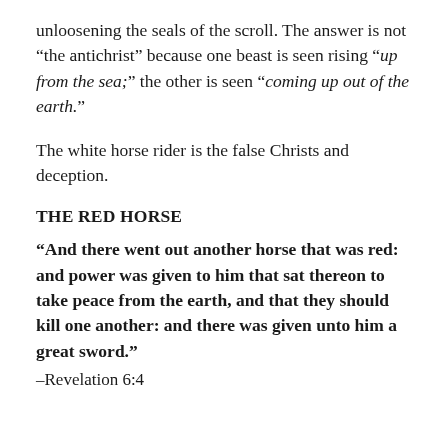unloosening the seals of the scroll. The answer is not “the antichrist” because one beast is seen rising “up from the sea;” the other is seen “coming up out of the earth.”
The white horse rider is the false Christs and deception.
THE RED HORSE
“And there went out another horse that was red: and power was given to him that sat thereon to take peace from the earth, and that they should kill one another: and there was given unto him a great sword.”
–Revelation 6:4